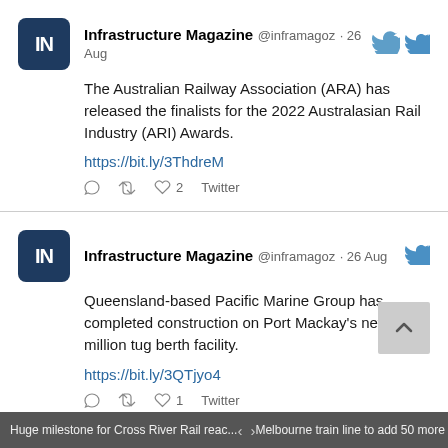Infrastructure Magazine @inframagoz · 26 Aug — The Australian Railway Association (ARA) has released the finalists for the 2022 Australasian Rail Industry (ARI) Awards. https://bit.ly/3ThdreM
Infrastructure Magazine @inframagoz · 26 Aug — Queensland-based Pacific Marine Group has completed construction on Port Mackay's new $8.5 million tug berth facility. https://bit.ly/3QTjyo4
Huge milestone for Cross River Rail reac... < > Melbourne train line to add 50 more wee...